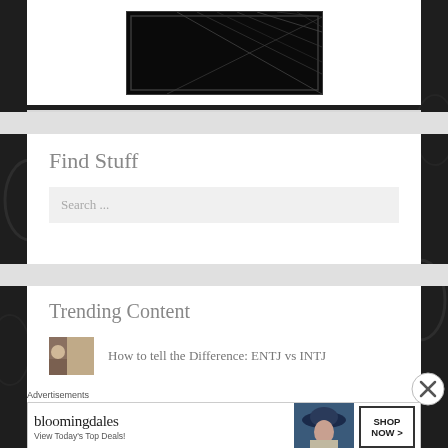[Figure (photo): Dark image with diagonal light streaks on black background, displayed in a white card]
Find Stuff
Search ...
Trending Content
How to tell the Difference: ENTJ vs INTJ
Advertisements
[Figure (infographic): Bloomingdales advertisement banner with logo, model in hat, and Shop Now button. Text: bloomingdales, View Today's Top Deals!, SHOP NOW >]